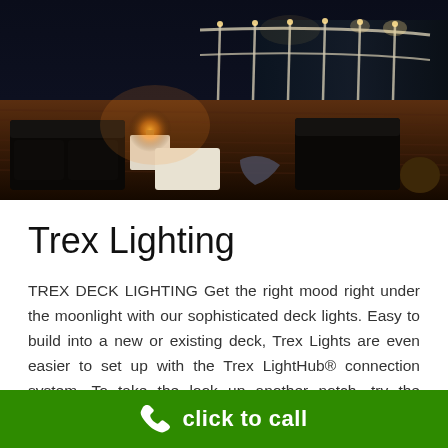[Figure (photo): Nighttime outdoor deck scene with white furniture, dark cushions, warm ambient lighting from lanterns, curved railing along waterfront]
Trex Lighting
TREX DECK LIGHTING Get the right mood right under the moonlight with our sophisticated deck lights. Easy to build into a new or existing deck, Trex Lights are even easier to set up with the Trex LightHub® connection system. To take the look up another notch, try the optional timer and dimmer for total ...
click to call